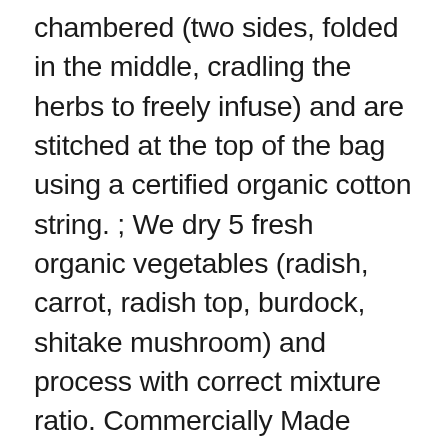chambered (two sides, folded in the middle, cradling the herbs to freely infuse) and are stitched at the top of the bag using a certified organic cotton string. ; We dry 5 fresh organic vegetables (radish, carrot, radish top, burdock, shitake mushroom) and process with correct mixture ratio. Commercially Made Decaf Tea . 365 Organic Green pleasantly surprised me. With my steeping it though, I absolutely love it. Enjoy your very own tea ceremony at home with our delicate and uplifting blend. Mouse over to Zoom-Click to enlarge. Reminds of HIME brand bancha we drank when we were kids. Reviewed in the United States on February 16, 2020. ; Our vegetable water tea bag is pure natural healthy food, which helps health care and desease prevention. During this transition, you may get the original packaging or the new packaging in your order, but